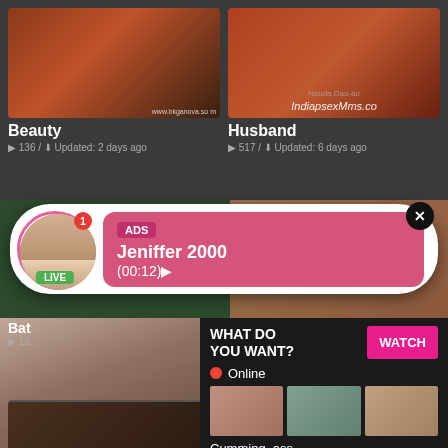[Figure (screenshot): Video thumbnail showing woman in red outfit]
Beauty
136 / Updated: 2 days ago
[Figure (screenshot): Video thumbnail with IndiapsexMms.co watermark]
Husband
517 / Updated: 6 days ago
[Figure (screenshot): Ad overlay banner with profile photo of Jeniffer 2000 showing LIVE badge, ADS tag, name and time (00:12)]
[Figure (screenshot): Explicit video thumbnail on left]
WHAT DO YOU WANT?
WATCH
Online
[Figure (screenshot): Three small explicit thumbnails]
Cumming, ass fucking, squirt or...
• ADS